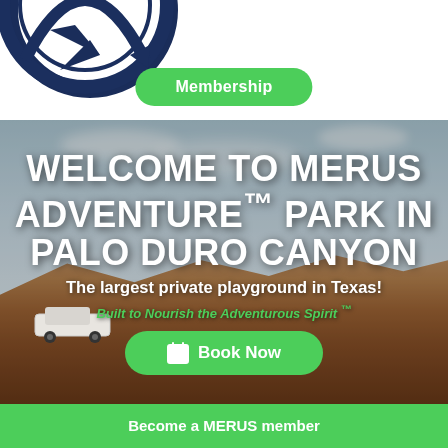[Figure (logo): Partial circular logo/icon in dark navy blue, partially cropped at top-left corner]
Membership
[Figure (photo): Aerial/scenic photograph of Palo Duro Canyon with red rock formations, cloudy sky, and a white Jeep on a trail]
WELCOME TO MERUS ADVENTURE™ PARK IN PALO DURO CANYON
The largest private playground in Texas!
Built to Nourish the Adventurous Spirit ™
Book Now
Become a MERUS member